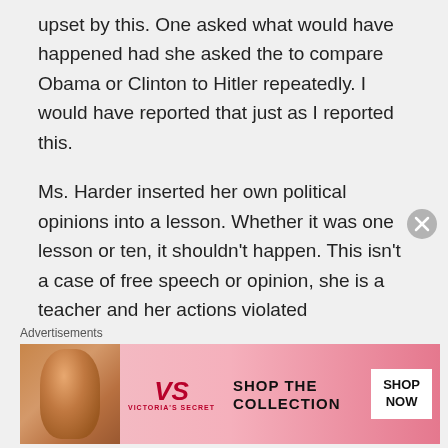upset by this. One asked what would have happened had she asked the to compare Obama or Clinton to Hitler repeatedly. I would have reported that just as I reported this.
Ms. Harder inserted her own political opinions into a lesson. Whether it was one lesson or ten, it shouldn't happen. This isn't a case of free speech or opinion, she is a teacher and her actions violated
Advertisements
[Figure (photo): Victoria's Secret advertisement banner with woman's photo, VS logo, 'SHOP THE COLLECTION' text, and 'SHOP NOW' button]